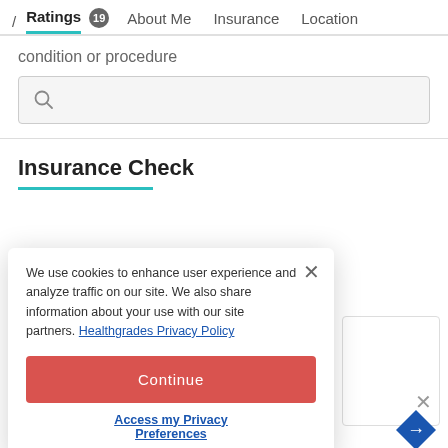/ Ratings 19 About Me Insurance Location
condition or procedure
[Figure (screenshot): Search input box with magnifying glass icon]
Insurance Check
We use cookies to enhance user experience and analyze traffic on our site. We also share information about your use with our site partners. Healthgrades Privacy Policy
Continue
Access my Privacy Preferences